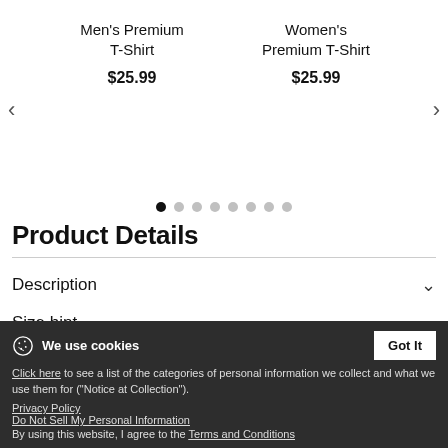[Figure (other): Product carousel showing Men's Premium T-Shirt and Women's Premium T-Shirt at $25.99 each, with navigation arrows and 8 pagination dots]
Product Details
Description
Size hint
Product Views
We use cookies
Click here to see a list of the categories of personal information we collect and what we use them for ("Notice at Collection").
Privacy Policy
Do Not Sell My Personal Information
By using this website, I agree to the Terms and Conditions